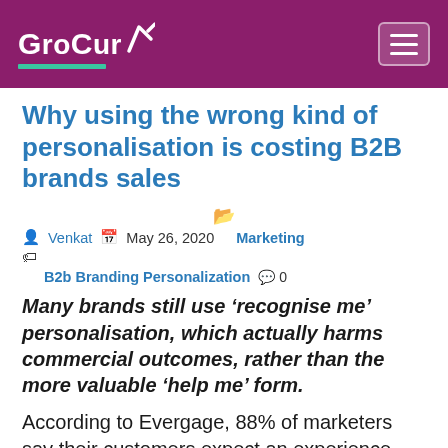GroCurv
Why using the wrong kind of personalisation is costing B2B brands sales
Venkat  May 26, 2020  Marketing
B2b Branding Personalization  0
Many brands still use ‘recognise me’ personalisation, which actually harms commercial outcomes, rather than the more valuable ‘help me’ form.
According to Evergage, 88% of marketers say their customers expect an experience